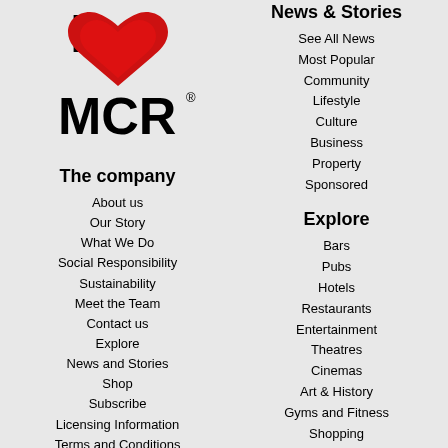[Figure (logo): I Love MCR logo — bold black text 'I' and 'MCR' with a red heart shape in the middle, registered trademark symbol after MCR]
The company
About us
Our Story
What We Do
Social Responsibility
Sustainability
Meet the Team
Contact us
Explore
News and Stories
Shop
Subscribe
Licensing Information
Terms and Conditions
Privacy Policy
Support us
News & Stories
See All News
Most Popular
Community
Lifestyle
Culture
Business
Property
Sponsored
Explore
Bars
Pubs
Hotels
Restaurants
Entertainment
Theatres
Cinemas
Art & History
Gyms and Fitness
Shopping
Businesses
Charities